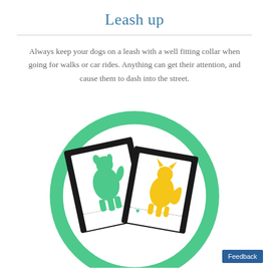Leash up
Always keep your dogs on a leash with a well fitting collar when going for walks or car rides. Anything can get their attention, and cause them to dash into the street.
[Figure (illustration): Two polaroid-style photo frames tilted at angles inside a large green circle. Left frame shows a teal/green dog silhouette with a small yellow heart. Right frame shows a yellow cat silhouette with a small teal heart.]